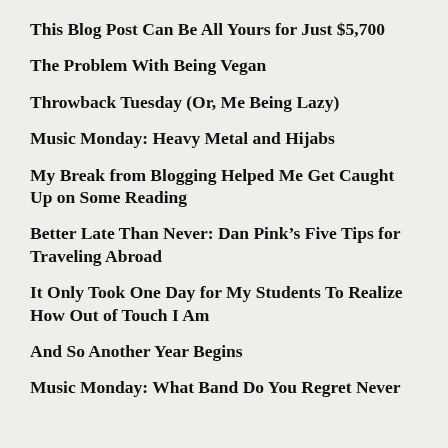This Blog Post Can Be All Yours for Just $5,700
The Problem With Being Vegan
Throwback Tuesday (Or, Me Being Lazy)
Music Monday: Heavy Metal and Hijabs
My Break from Blogging Helped Me Get Caught Up on Some Reading
Better Late Than Never: Dan Pink’s Five Tips for Traveling Abroad
It Only Took One Day for My Students To Realize How Out of Touch I Am
And So Another Year Begins
Music Monday: What Band Do You Regret Never